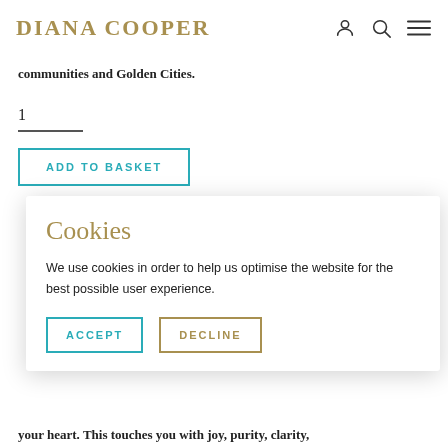DIANA COOPER
communities and Golden Cities.
1
ADD TO BASKET
Cookies
We use cookies in order to help us optimise the website for the best possible user experience.
ACCEPT
DECLINE
your heart.  This touches you with joy, purity, clarity,